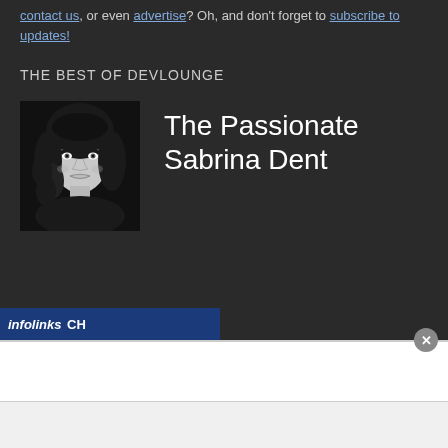contact us, or even advertise? Oh, and don't forget to subscribe to updates!
THE BEST OF DEVLOUNGE
[Figure (photo): Black and white portrait photo of Sabrina Dent, a young woman with curly hair]
The Passionate Sabrina Dent
infolinks CH